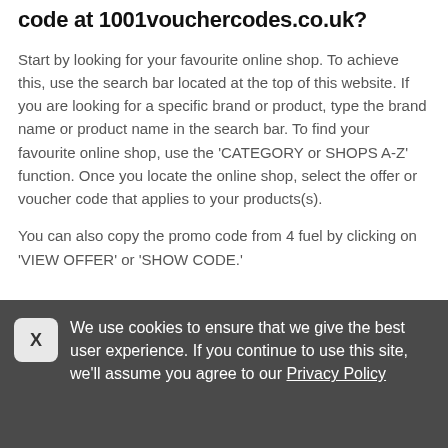code at 1001vouchercodes.co.uk?
Start by looking for your favourite online shop. To achieve this, use the search bar located at the top of this website. If you are looking for a specific brand or product, type the brand name or product name in the search bar. To find your favourite online shop, use the 'CATEGORY or SHOPS A-Z' function. Once you locate the online shop, select the offer or voucher code that applies to your products(s).
You can also copy the promo code from 4 fuel by clicking on 'VIEW OFFER' or 'SHOW CODE.'
We use cookies to ensure that we give the best user experience. If you continue to use this site, we'll assume you agree to our Privacy Policy